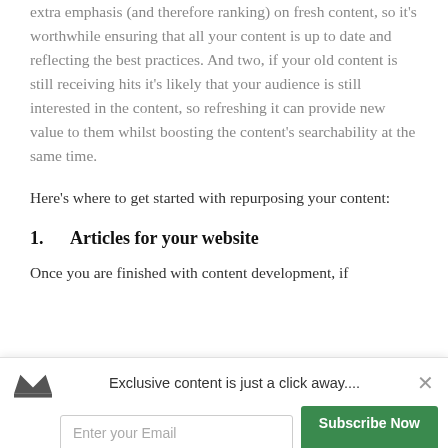extra emphasis (and therefore ranking) on fresh content, so it's worthwhile ensuring that all your content is up to date and reflecting the best practices. And two, if your old content is still receiving hits it's likely that your audience is still interested in the content, so refreshing it can provide new value to them whilst boosting the content's searchability at the same time.
Here's where to get started with repurposing your content:
1.   Articles for your website
Once you are finished with content development, if
Exclusive content is just a click away....